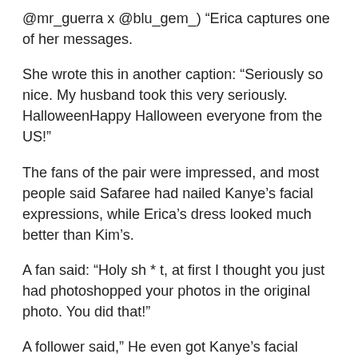@mr_guerra x @blu_gem_) “Erica captures one of her messages.
She wrote this in another caption: “Seriously so nice. My husband took this very seriously. HalloweenHappy Halloween everyone from the US!”
The fans of the pair were impressed, and most people said Safaree had nailed Kanye’s facial expressions, while Erica’s dress looked much better than Kim’s.
A fan said: “Holy sh * t, at first I thought you just had photoshopped your photos in the original photo. You did that!”
A follower said,” He even got Kanye’s facial expression “and another fan posted:” You are literally so beautifully pregnant. ” 😊
Someone else wrote: He did Kanye’s facial expression...